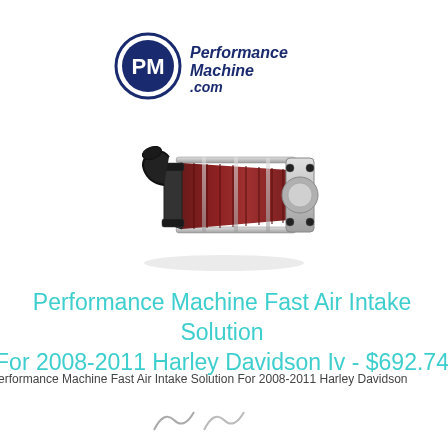[Figure (logo): Performance Machine .com logo with circular PM emblem and blue text]
[Figure (photo): Performance Machine Fast Air Intake product photo - conical air filter with chrome frame and black mounting hardware]
Performance Machine Fast Air Intake Solution For 2008-2011 Harley Davidson Iv - $692.74
Performance Machine Fast Air Intake Solution For 2008-2011 Harley Davidson
[Figure (logo): Small logos at bottom of page]